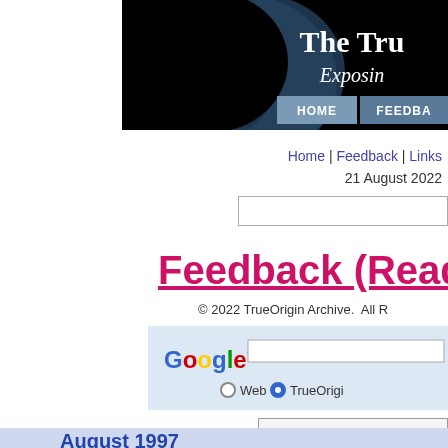[Figure (screenshot): Website header banner with dark/black background, moon image on left, and 'The Tru...' title and 'Exposin...' subtitle in white serif font on right. Navigation buttons HOME and FEEDBA visible.]
Home | Feedback | Links
21 August 2022
[Figure (screenshot): Search input bar]
Feedback (Reader
© 2022 TrueOrigin Archive.  All R
[Figure (screenshot): Google search widget with Google logo, search input field, Web and TrueOrigin radio button options on light blue background]
Click Here To Submit Your Ov
August 1997